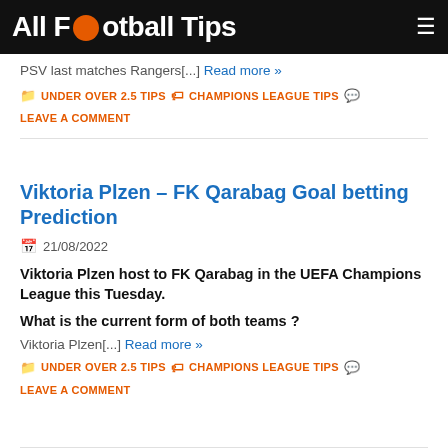All Football Tips
PSV last matches Rangers[...] Read more »
UNDER OVER 2.5 TIPS  CHAMPIONS LEAGUE TIPS  LEAVE A COMMENT
Viktoria Plzen – FK Qarabag Goal betting Prediction
21/08/2022
Viktoria Plzen host to FK Qarabag in the UEFA Champions League this Tuesday.
What is the current form of both teams ?
Viktoria Plzen[...] Read more »
UNDER OVER 2.5 TIPS  CHAMPIONS LEAGUE TIPS  LEAVE A COMMENT